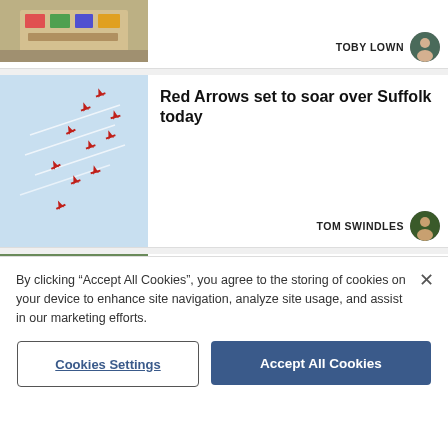[Figure (photo): Partial article card at top showing a thumbnail image of colorful items on gravel, with author byline TOBY LOWN and avatar]
TOBY LOWN
[Figure (photo): Red Arrows jets flying in formation against blue sky with white vapor trails]
Red Arrows set to soar over Suffolk today
TOM SWINDLES
[Figure (photo): Two people holding a WINNER frame sign in front of trees]
'Big risk' pays off as business scoops prestigious award
By clicking "Accept All Cookies", you agree to the storing of cookies on your device to enhance site navigation, analyze site usage, and assist in our marketing efforts.